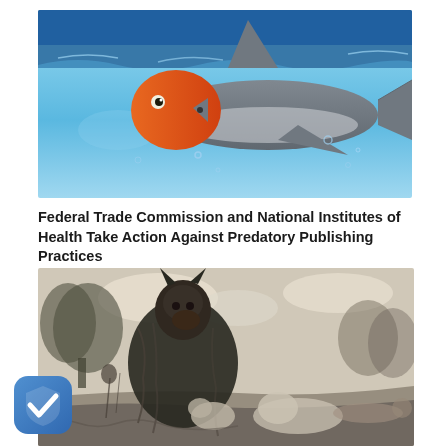[Figure (illustration): A composite underwater image showing a shark body with a goldfish/orange fish head attached to it, swimming underwater with bubbles visible. The background shows blue water with light ripples at the surface.]
Federal Trade Commission and National Institutes of Health Take Action Against Predatory Publishing Practices
[Figure (illustration): A black and white engraving/illustration showing a wolf-like figure dressed in robes or cloak standing over what appears to be a sheep or lamb on the ground, with trees and sky in the background. A wolf in sheep's clothing allegory.]
[Figure (logo): A blue rounded square shield icon with a white checkmark inside, positioned in the bottom-left corner of the page.]